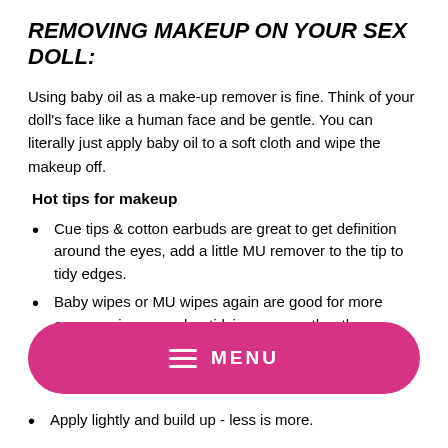REMOVING MAKEUP ON YOUR SEX DOLL:
Using baby oil as a make-up remover is fine. Think of your doll's face like a human face and be gentle. You can literally just apply baby oil to a soft cloth and wipe the makeup off.
Hot tips for makeup
Cue tips & cotton earbuds are great to get definition around the eyes, add a little MU remover to the tip to tidy edges.
Baby wipes or MU wipes again are good for more accuracy in removal or tidying areas rather than a
[Figure (other): Pink rounded rectangle menu bar with hamburger icon and MENU label]
Apply lightly and build up - less is more.